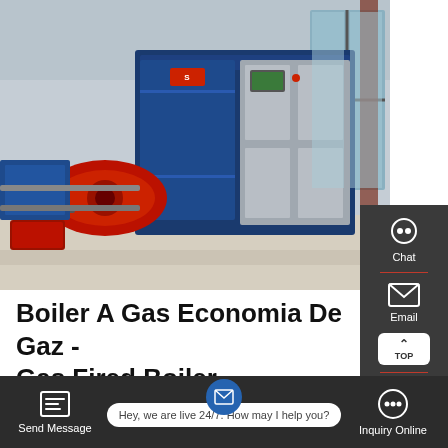[Figure (photo): Industrial gas-fired boiler unit with blue casing, red burner assembly, and silver control panel cabinet, photographed in a factory/warehouse setting.]
Boiler A Gas Economia De Gaz - Gas Fired Boiler
Shoe Industry Oil-Fired Steam Boiler Seller wns series diesel fired steam boiler Metallurgy Fire Tube Boiler Supplier Gas Boiler Germany Shoe Industry Gas Steam Boiler
Send Message | Hey, we are live 24/7. How may I help you? | Inquiry Online